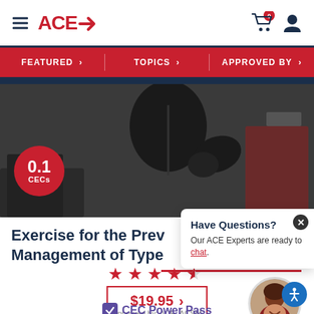ACE→
FEATURED > TOPICS > APPROVED BY >
[Figure (photo): Person in dark athletic jacket exercising on a treadmill in a gym, with a red circular badge showing 0.1 CECs]
Exercise for the Prevention and Management of Type
[Figure (infographic): 4.5 star rating shown as red stars]
$19.95 >
Approved by: ACE, ACSM
CEC Power Pass
Have Questions? Our ACE Experts are ready to chat.